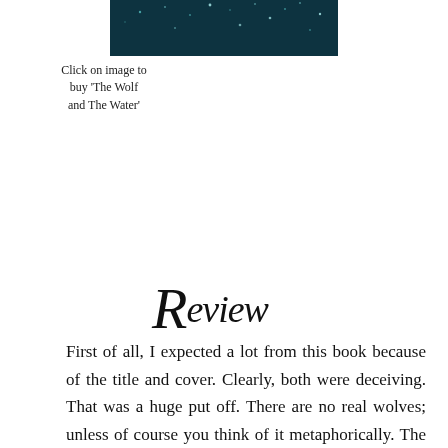[Figure (photo): Dark teal/dark book cover image with scattered light dots, partially visible at top of page]
Click on image to buy 'The Wolf and The Water'
Review
First of all, I expected a lot from this book because of the title and cover. Clearly, both were deceiving. That was a huge put off. There are no real wolves; unless of course you think of it metaphorically. The cover was an instant hit. And I was thoroughly disappointed